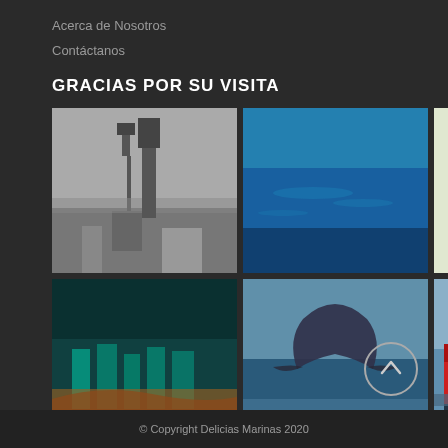Acerca de Nosotros
Contáctanos
GRACIAS POR SU VISITA
[Figure (photo): 6-image photo grid: (1) black-and-white lighthouse, (2) blue ocean with fish, (3) colorful salad with eggs on white plate, (4) aerial city view with teal and orange tones, (5) whale tail breaching ocean surface, (6) red fishing boat at harbor]
© Copyright Delicias Marinas 2020